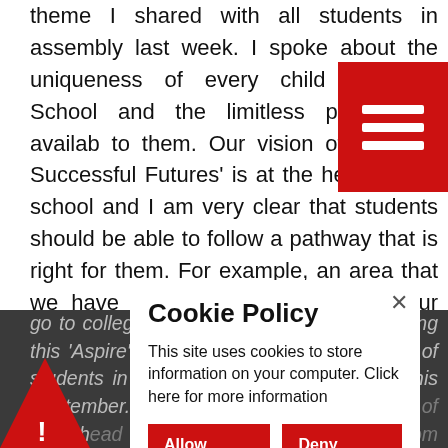theme I shared with all students in assembly last week. I spoke about the uniqueness of every child attending School and the limitless possibilities available to them. Our vision of 'Building Successful Futures' is at the heart of our school and I am very clear that students should be able to follow a pathway that is right for them. For example, an area that we have strengthened this year is our pathway for students who would like to
go to college and gain a trade. We are calling this 'Aspire'. Last week we met with groups of students in Year 10 and Year 11 starting this September. We have met with a number of staff, head teacher, and business leaders from Building
Cookie Policy
This site uses cookies to store information on your computer. Click here for more information
Allow Cookies
Deny Cookies